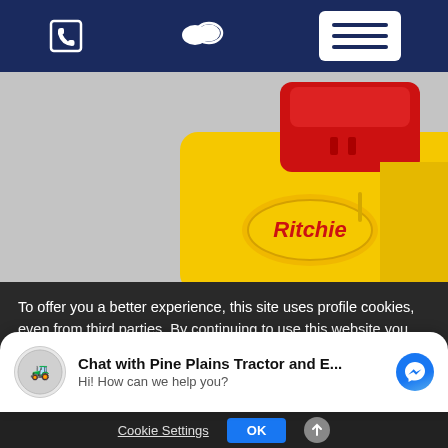[Figure (screenshot): Website navigation bar with dark navy background showing phone icon, chat icon, and hamburger menu button on white background]
[Figure (photo): Close-up photo of a yellow Ritchie branded product (livestock waterer) with a red top component against a grey background]
To offer you a better experience, this site uses profile cookies, even from third parties. By continuing to use this website you consent to the use of cookies. For more information or to
[Figure (screenshot): Facebook Messenger chat widget showing Pine Plains Tractor logo, text 'Chat with Pine Plains Tractor and E...' and 'Hi! How can we help you?']
Cookie Settings
OK